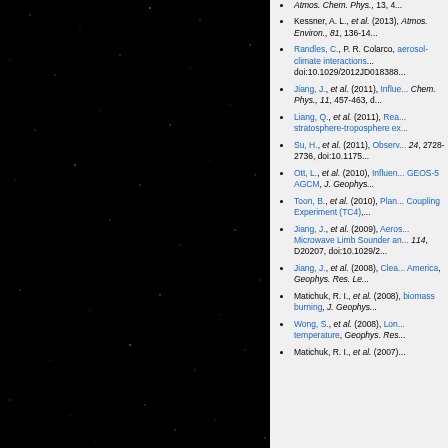[Figure (photo): Dark night sky photograph with scattered faint stars on black background]
Kessner, A. L., et al. (2013), Atmos. Environ., 81, 136-14
Randles, C., P. R. Colarco, aerosol-climate interactions doi:10.1029/2012JD018388
Jiang, J., et al. (2011), Influence Chem. Phys., 11, 457-463,
Liang, Q., et al. (2011), Rea stratosphere-troposphere ex
Su, H., et al. (2011), Observ 24, 2728-2736, doi:10.1175
Ott, L., et al. (2010), Influence GEOS-5 AGCM, J. Geophys
Toon, B., et al. (2010), Plan Coupling Experiment (TC4),
Jiang, J., et al. (2009), Aeros Microwave Limb Sounder an 114, D20207, doi:10.1029/2
Jiang, J., et al. (2008), Clea America, Geophys. Res. Le
Matichuk, R. I., et al. (2008), biomass burning, J. Geophys
Wong, S., et al. (2008), Lon temperature, Geophys. Res
Matichuk, R. I., et al. (2007)